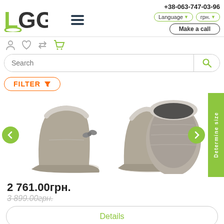[Figure (logo): LGG logo in green and dark gray]
+38-063-747-03-96
Language ▼
грн. ▼
Make a call
Search
FILTER
[Figure (photo): Gray UGG boots shown from multiple angles: side with bow, front, back, and top-down view]
2 761.00грн.
3 899.00грн.
Details
Quick order
Determine size